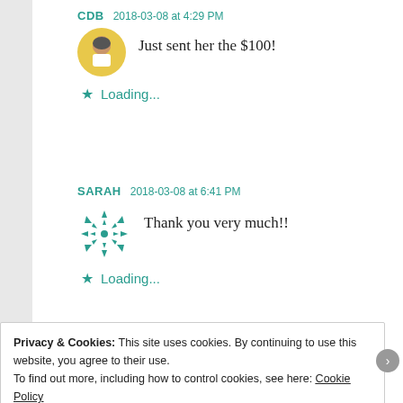CDB  2018-03-08 at 4:29 PM
Just sent her the $100!
★ Loading...
SARAH  2018-03-08 at 6:41 PM
Thank you very much!!
★ Loading...
Privacy & Cookies: This site uses cookies. By continuing to use this website, you agree to their use.
To find out more, including how to control cookies, see here: Cookie Policy
Close and accept